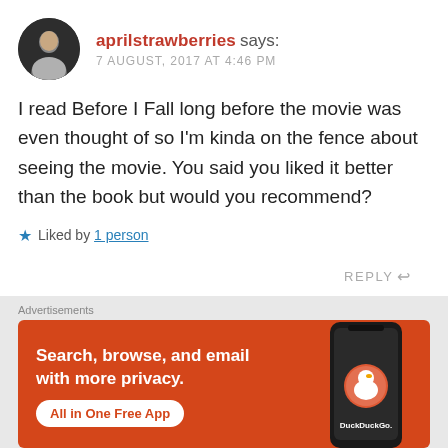aprilstrawberries says:
7 AUGUST, 2017 AT 4:46 PM
I read Before I Fall long before the movie was even thought of so I'm kinda on the fence about seeing the movie. You said you liked it better than the book but would you recommend?
Liked by 1 person
REPLY
Advertisements
[Figure (screenshot): DuckDuckGo advertisement banner with orange background showing 'Search, browse, and email with more privacy. All in One Free App' with a phone graphic and DuckDuckGo logo]